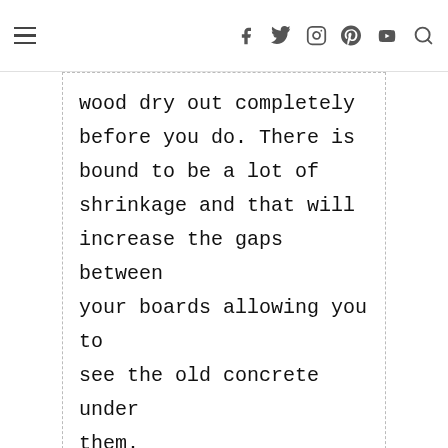Navigation bar with hamburger menu and social icons: Facebook, Twitter, Instagram, Pinterest, YouTube, Search
wood dry out completely before you do. There is bound to be a lot of shrinkage and that will increase the gaps between your boards allowing you to see the old concrete under them.
[Figure (other): Advertisement banner: Order Online, Pick Up in Store — World Market, with play button logo and blue arrow icon]